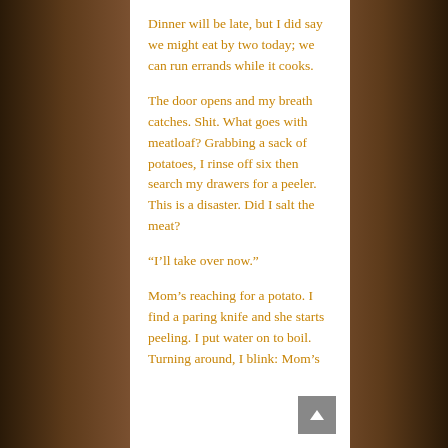Dinner will be late, but I did say we might eat by two today; we can run errands while it cooks.
The door opens and my breath catches. Shit. What goes with meatloaf? Grabbing a sack of potatoes, I rinse off six then search my drawers for a peeler. This is a disaster. Did I salt the meat?
“I’ll take over now.”
Mom’s reaching for a potato. I find a paring knife and she starts peeling. I put water on to boil. Turning around, I blink: Mom’s